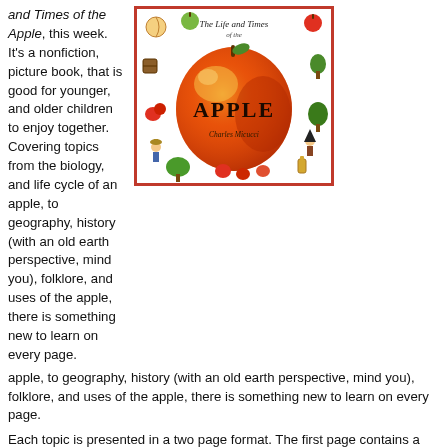and Times of the Apple, this week. It's a nonfiction, picture book, that is good for younger, and older children to enjoy together. Covering topics from the biology, and life cycle of an apple, to geography, history (with an old earth perspective, mind you), folklore, and uses of the apple, there is something new to learn on every page.
[Figure (illustration): Book cover of 'The Life and Times of the Apple' by Charles Micucci, showing a large red apple surrounded by small illustrations of apple-related scenes and objects including trees, barrels, people, and apple products, with a red border.]
Each topic is presented in a two page format. The first page contains a short paragraph, or two, which younger children should enjoy along with the lively illustrations. The second pages go into greater detail, such as labeling the parts of an apple blossom, mapping and graphing apple growth around the world, charting cross-fertilization of apples, or illustrating the step by step process of grafting.